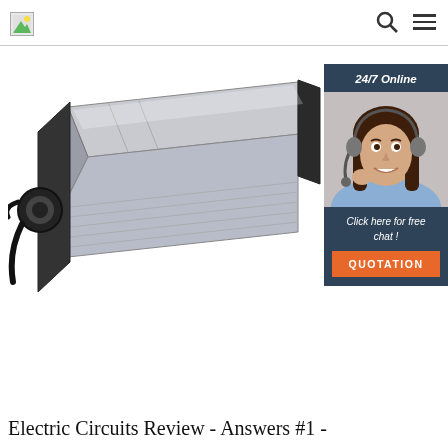Navigation bar with logo, search icon, and menu icon
[Figure (photo): Silver rectangular electronic ballast/power supply unit with black end caps and cable connector on the left side, shown in three-quarter perspective view against white background]
[Figure (infographic): 24/7 online chat widget with dark blue header reading '24/7 Online', photo of female customer service agent wearing headset, text 'Click here for free chat!' and orange button labeled 'QUOTATION']
Electric Circuits Review - Answers #1 -